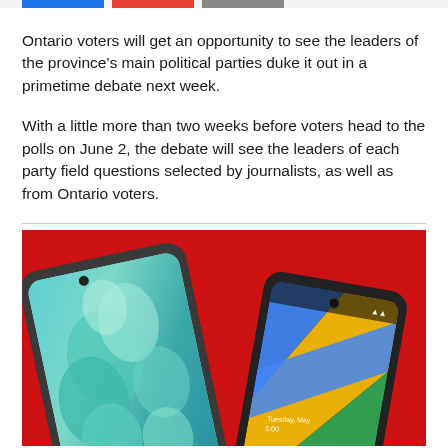Ontario voters will get an opportunity to see the leaders of the province's main political parties duke it out in a primetime debate next week.
With a little more than two weeks before voters head to the polls on June 2, the debate will see the leaders of each party field questions selected by journalists, as well as from Ontario voters.
[Figure (photo): Two smartphones on a red background — a Samsung Galaxy (left) showing a floral teal/blue wallpaper, and a Google Pixel (right) showing the Google logo wallpaper with colorful diagonal stripes.]